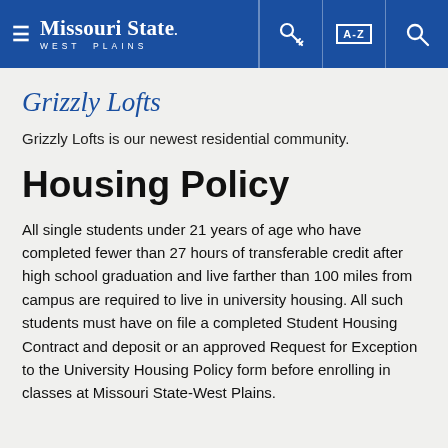Missouri State West Plains — navigation header with hamburger menu, key icon, A-Z index icon, and search icon
Grizzly Lofts
Grizzly Lofts is our newest residential community.
Housing Policy
All single students under 21 years of age who have completed fewer than 27 hours of transferable credit after high school graduation and live farther than 100 miles from campus are required to live in university housing. All such students must have on file a completed Student Housing Contract and deposit or an approved Request for Exception to the University Housing Policy form before enrolling in classes at Missouri State-West Plains.